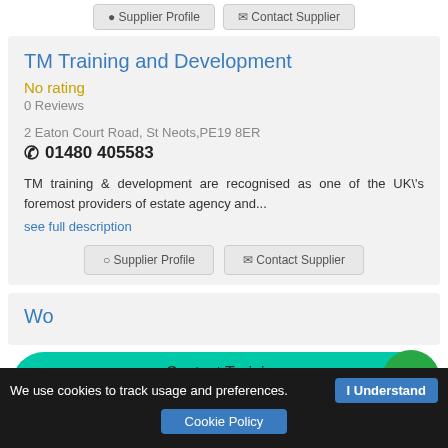[Figure (screenshot): Top button bar with Supplier Profile and Contact Supplier buttons (partially visible at top)]
TM Training and Development
No rating
0 Reviews
2 Eaton Court Road, St Neots,PE19 8ER
01480 405583
TM training & development are recognised as one of the UK\'s foremost providers of estate agency and...
see full description
[Figure (screenshot): Supplier Profile and Contact Supplier buttons]
Wo...
[Figure (other): Contact Training For A Quote >> banner overlay in teal/green]
We use cookies to track usage and preferences.
I Understand
Cookie Policy